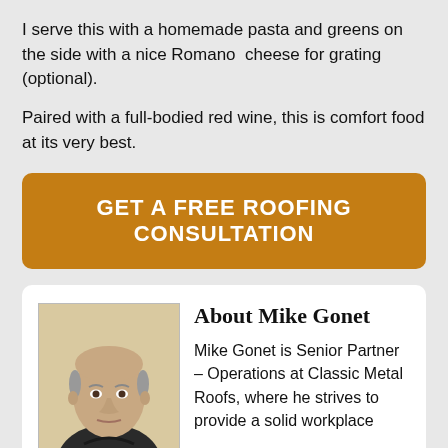I serve this with a homemade pasta and greens on the side with a nice Romano  cheese for grating (optional).
Paired with a full-bodied red wine, this is comfort food at its very best.
[Figure (other): Orange rounded button with white text: GET A FREE ROOFING CONSULTATION]
[Figure (photo): Headshot of an older bald man wearing a dark shirt, against a light beige background.]
About Mike Gonet
Mike Gonet is Senior Partner – Operations at Classic Metal Roofs, where he strives to provide a solid workplace